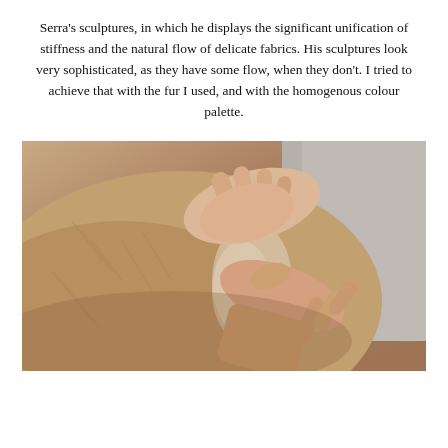Serra's sculptures, in which he displays the significant unification of stiffness and the natural flow of delicate fabrics. His sculptures look very sophisticated, as they have some flow, when they don't. I tried to achieve that with the fur I used, and with the homogenous colour palette.
[Figure (photo): Close-up photograph of human hands pressing into or stroking a surface covered with soft, light-brown fur or animal hide, against a neutral grey background.]